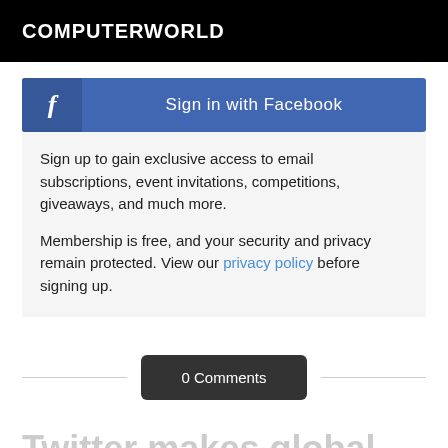COMPUTERWORLD
[Figure (other): Sign in with Facebook button with Facebook logo icon on left and text 'Sign in with Facebook' on right, blue background]
Sign up to gain exclusive access to email subscriptions, event invitations, competitions, giveaways, and much more.
Membership is free, and your security and privacy remain protected. View our privacy policy before signing up.
0 Comments
Twitter makes global changes to comply with privacy laws